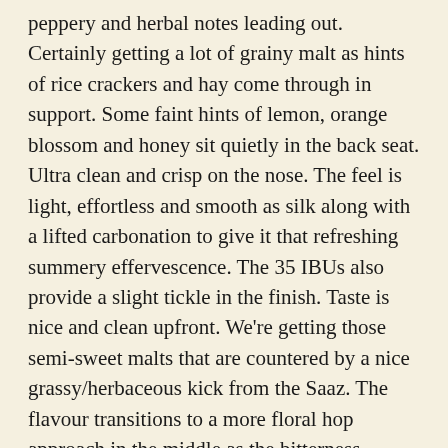peppery and herbal notes leading out. Certainly getting a lot of grainy malt as hints of rice crackers and hay come through in support. Some faint hints of lemon, orange blossom and honey sit quietly in the back seat. Ultra clean and crisp on the nose. The feel is light, effortless and smooth as silk along with a lifted carbonation to give it that refreshing summery effervescence. The 35 IBUs also provide a slight tickle in the finish. Taste is nice and clean upfront. We're getting those semi-sweet malts that are countered by a nice grassy/herbaceous kick from the Saaz. The flavour transitions to a more floral hop approach in the middle as the bitterness carries a spicy hop note in to the finish. There's considerable length on the rear palate here too. Really crisp and refreshing in the tail. This was a highly drinkable Pilsner. You can tell it's a crafted version as there's no cheap corny DMS or boiled vegetable aromas. Just loads of those gorgeous Saaz hops and malty sweet, crackery flavours that balance perfectly. Geez, it's so sessional we could sit on these all arvo! Solid offering.